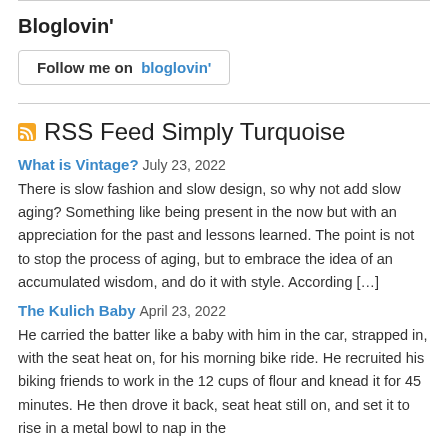Bloglovin'
[Figure (other): Follow me on bloglovin' button — a rounded-rectangle button with text 'Follow me on bloglovin'' where bloglovin' is in blue bold text]
RSS Feed Simply Turquoise
What is Vintage? July 23, 2022
There is slow fashion and slow design, so why not add slow aging? Something like being present in the now but with an appreciation for the past and lessons learned. The point is not to stop the process of aging, but to embrace the idea of an accumulated wisdom, and do it with style. According […]
The Kulich Baby April 23, 2022
He carried the batter like a baby with him in the car, strapped in, with the seat heat on, for his morning bike ride. He recruited his biking friends to work in the 12 cups of flour and knead it for 45 minutes. He then drove it back, seat heat still on, and set it to rise in a metal bowl to nap in the